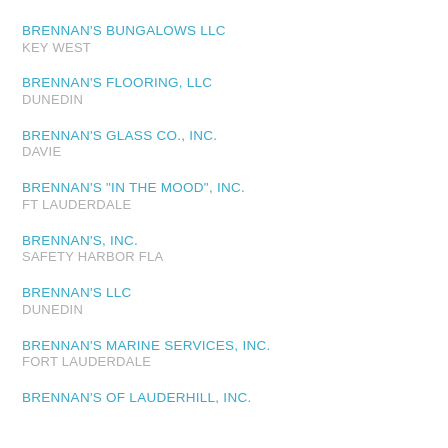BRENNAN'S BUNGALOWS LLC
KEY WEST
BRENNAN'S FLOORING, LLC
DUNEDIN
BRENNAN'S GLASS CO., INC.
DAVIE
BRENNAN'S "IN THE MOOD", INC.
FT LAUDERDALE
BRENNAN'S, INC.
SAFETY HARBOR FLA
BRENNAN'S LLC
DUNEDIN
BRENNAN'S MARINE SERVICES, INC.
FORT LAUDERDALE
BRENNAN'S OF LAUDERHILL, INC.